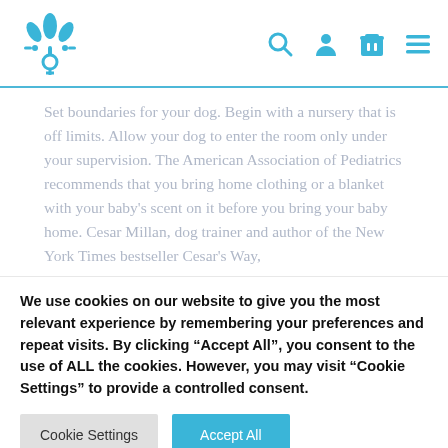[Logo] [Search] [Account] [Cart] [Menu]
Set boundaries for your dog. Begin with a nursery that is off limits. Allow your dog to enter the room only under your supervision. The American Association of Pediatrics recommends that you bring home clothing or a blanket with your baby's scent on it before you bring your baby home. Cesar Millan, dog trainer and author of the New York Times bestseller Cesar's Way,
We use cookies on our website to give you the most relevant experience by remembering your preferences and repeat visits. By clicking "Accept All", you consent to the use of ALL the cookies. However, you may visit "Cookie Settings" to provide a controlled consent.
Cookie Settings | Accept All